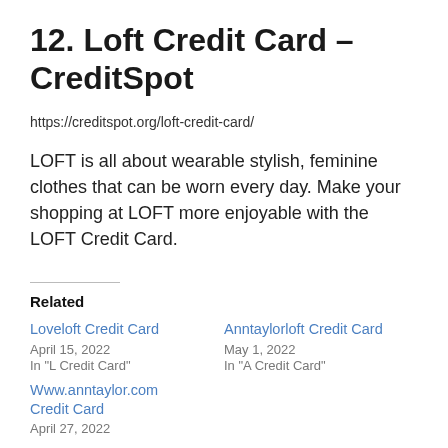12. Loft Credit Card – CreditSpot
https://creditspot.org/loft-credit-card/
LOFT is all about wearable stylish, feminine clothes that can be worn every day. Make your shopping at LOFT more enjoyable with the LOFT Credit Card.
Related
Loveloft Credit Card
April 15, 2022
In "L Credit Card"
Anntaylorloft Credit Card
May 1, 2022
In "A Credit Card"
Www.anntaylor.com Credit Card
April 27, 2022